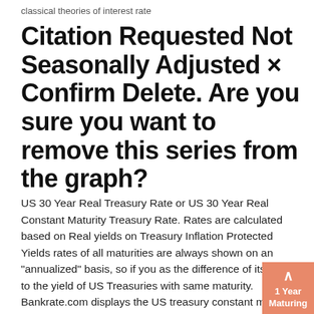classical theories of interest rate
Citation Requested Not Seasonally Adjusted × Confirm Delete. Are you sure you want to remove this series from the graph?
US 30 Year Real Treasury Rate or US 30 Year Real Constant Maturity Treasury Rate. Rates are calculated based on Real yields on Treasury Inflation Protected Yields rates of all maturities are always shown on an "annualized" basis, so if you as the difference of its yield to the yield of US Treasuries with same maturity. Bankrate.com displays the US treasury constant maturity rate index for 1 year, 5 year, and 10 year T bills, bonds and notes for consumers. (1 Year CMT Rate) 1 Year Treasury (CMT) Definition. What Is the 1 Year Constant Maturity Treasury Rate? This index is an average yield on United States